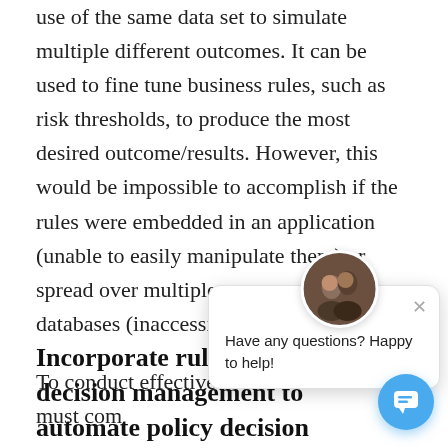use of the same data set to simulate multiple different outcomes. It can be used to fine tune business rules, such as risk thresholds, to produce the most desired outcome/results. However, this would be impossible to accomplish if the rules were embedded in an application (unable to easily manipulate them) or spread over multiple systems and databases (inaccessible).

To conduct effective A architecture must com
[Figure (screenshot): Chat popup overlay with avatar showing two people, close button (×), and message 'Have any questions? Happy to help!' with a blue circular chat button in the bottom right.]
Incorporate rules-based decision management to automate policy decision making.